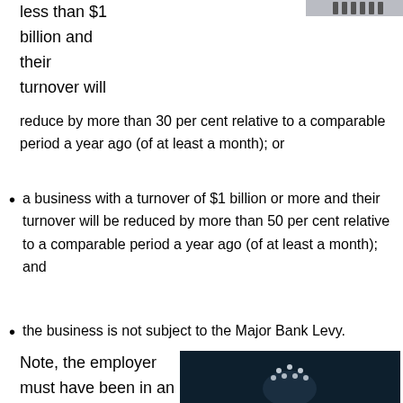[Figure (photo): Top banner image showing people in a city/business setting, partially cropped]
less than $1 billion and their turnover will reduce by more than 30 per cent relative to a comparable period a year ago (of at least a month); or
a business with a turnover of $1 billion or more and their turnover will be reduced by more than 50 per cent relative to a comparable period a year ago (of at least a month); and
the business is not subject to the Major Bank Levy.
Note, the employer must have been in an employment
[Figure (photo): Photo of a businessman in a dark suit holding glowing icons of people above his hands]